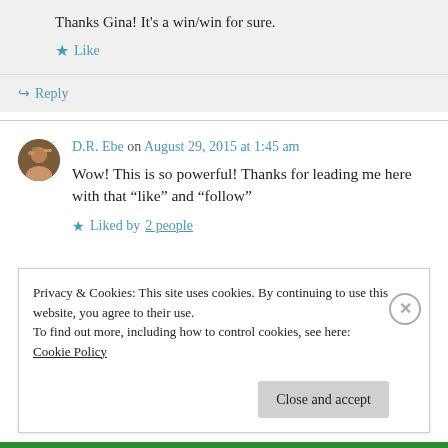Thanks Gina! It’s a win/win for sure.
★ Like
↳ Reply
D.R. Ebe on August 29, 2015 at 1:45 am
Wow! This is so powerful! Thanks for leading me here with that “like” and “follow”
★ Liked by 2 people
Privacy & Cookies: This site uses cookies. By continuing to use this website, you agree to their use.
To find out more, including how to control cookies, see here: Cookie Policy
Close and accept